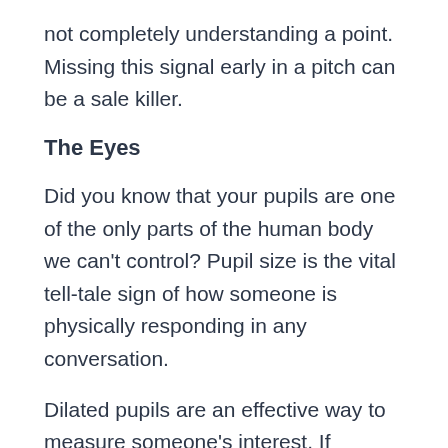not completely understanding a point. Missing this signal early in a pitch can be a sale killer.
The Eyes
Did you know that your pupils are one of the only parts of the human body we can't control? Pupil size is the vital tell-tale sign of how someone is physically responding in any conversation.
Dilated pupils are an effective way to measure someone's interest. If someone's pupils are constricted, it's a tell-tale sign that they are not open to what you are saying. If their eyes are wide open and their pupils dilate, then you can tell they have an interest in what you are saying. Maintaining eye